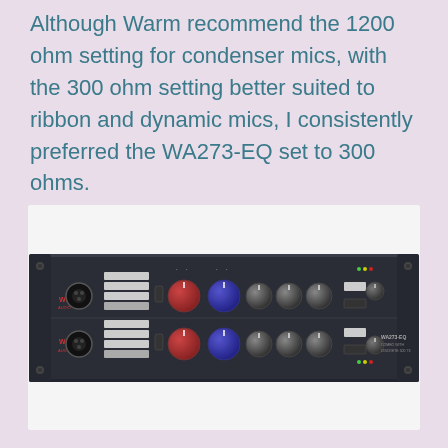Although Warm recommend the 1200 ohm setting for condenser mics, with the 300 ohm setting better suited to ribbon and dynamic mics, I consistently preferred the WA273-EQ set to 300 ohms.
[Figure (photo): Photo of a Warm Audio WA273-EQ dual-channel rackmount microphone preamplifier and equalizer unit, shown on a white background. The unit is a 2U rack device with dark navy/black faceplate featuring XLR inputs, fader strips, multiple rotary knobs (including red and blue large knobs), buttons, and the WARM Audio logo in red on the left side.]